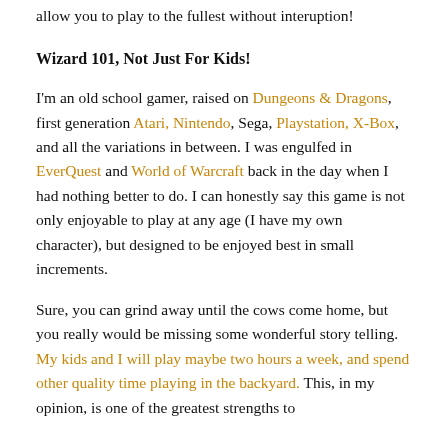allow you to play to the fullest without interuption!
Wizard 101, Not Just For Kids!
I'm an old school gamer, raised on Dungeons & Dragons, first generation Atari, Nintendo, Sega, Playstation, X-Box, and all the variations in between. I was engulfed in EverQuest and World of Warcraft back in the day when I had nothing better to do. I can honestly say this game is not only enjoyable to play at any age (I have my own character), but designed to be enjoyed best in small increments.
Sure, you can grind away until the cows come home, but you really would be missing some wonderful story telling. My kids and I will play maybe two hours a week, and spend other quality time playing in the backyard. This, in my opinion, is one of the greatest strengths to